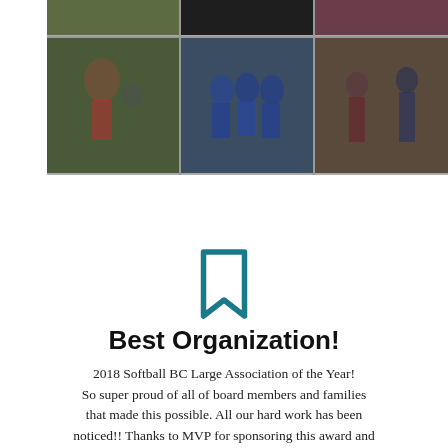[Figure (photo): Photo collage of softball players and teams in action, showing various youth softball scenes including pitching, huddles, and fielding.]
[Figure (illustration): Teal/dark cyan bookmark icon (ribbon shape) centered on page.]
Best Organization!
2018 Softball BC Large Association of the Year! So super proud of all of board members and families that made this possible. All our hard work has been noticed!! Thanks to MVP for sponsoring this award and recognizing all the effort!